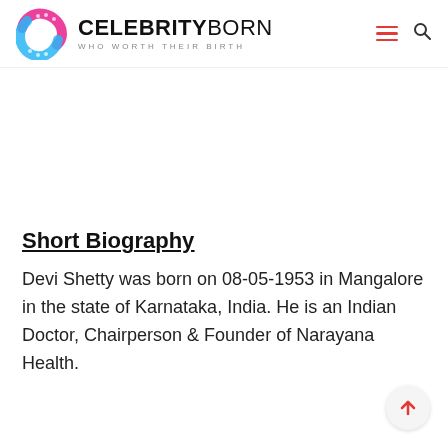CELEBRITYBORN WHO WORTH THEIR BIRTH
Short Biography
Devi Shetty was born on 08-05-1953 in Mangalore in the state of Karnataka, India. He is an Indian Doctor, Chairperson & Founder of Narayana Health.